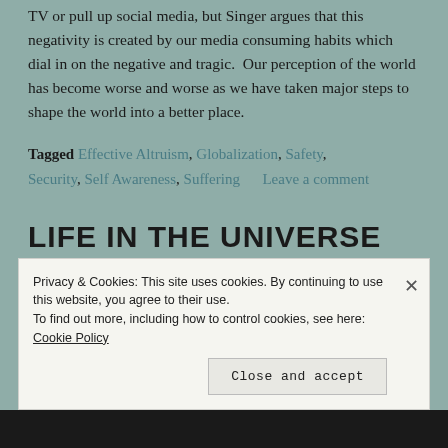TV or pull up social media, but Singer argues that this negativity is created by our media consuming habits which dial in on the negative and tragic.  Our perception of the world has become worse and worse as we have taken major steps to shape the world into a better place.
Tagged Effective Altruism, Globalization, Safety, Security, Self Awareness, Suffering    Leave a comment
LIFE IN THE UNIVERSE
Posted on March 29, 2016
Privacy & Cookies: This site uses cookies. By continuing to use this website, you agree to their use.
To find out more, including how to control cookies, see here: Cookie Policy
Close and accept